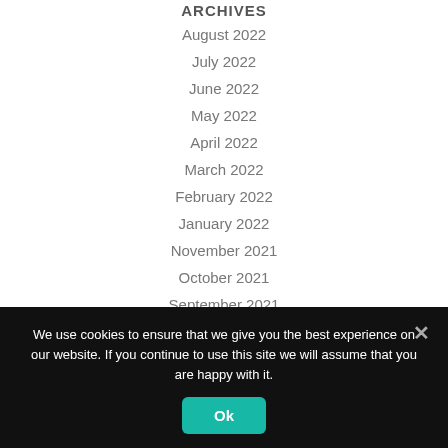ARCHIVES
August 2022
July 2022
June 2022
May 2022
April 2022
March 2022
February 2022
January 2022
November 2021
October 2021
September 2021
We use cookies to ensure that we give you the best experience on our website. If you continue to use this site we will assume that you are happy with it.